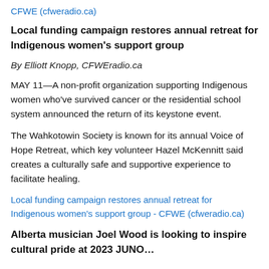CFWE (cfweradio.ca)
Local funding campaign restores annual retreat for Indigenous women's support group
By Elliott Knopp, CFWEradio.ca
MAY 11—A non-profit organization supporting Indigenous women who've survived cancer or the residential school system announced the return of its keystone event.
The Wahkotowin Society is known for its annual Voice of Hope Retreat, which key volunteer Hazel McKennitt said creates a culturally safe and supportive experience to facilitate healing.
Local funding campaign restores annual retreat for Indigenous women's support group - CFWE (cfweradio.ca)
Alberta musician Joel Wood is looking to inspire cultural pride at 2023 JUNO…